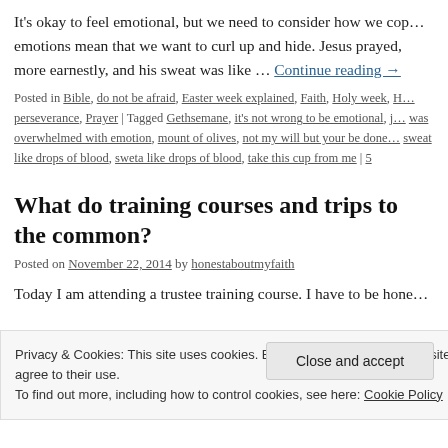It's okay to feel emotional, but we need to consider how we cop… emotions mean that we want to curl up and hide. Jesus prayed, more earnestly, and his sweat was like … Continue reading →
Posted in Bible, do not be afraid, Easter week explained, Faith, Holy week, H… perseverance, Prayer | Tagged Gethsemane, it's not wrong to be emotional, j… was overwhelmed with emotion, mount of olives, not my will but your be done… sweat like drops of blood, sweta like drops of blood, take this cup from me | 5
What do training courses and trips to the common?
Posted on November 22, 2014 by honestaboutmyfaith
Today I am attending a trustee training course. I have to be hone…
Privacy & Cookies: This site uses cookies. By continuing to use this website, you agree to their use.
To find out more, including how to control cookies, see here: Cookie Policy
Close and accept